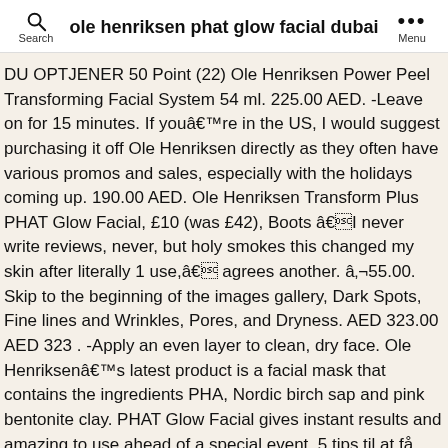ole henriksen phat glow facial dubai
DU OPTJENER 50 Point (22) Ole Henriksen Power Peel Transforming Facial System 54 ml. 225.00 AED. -Leave on for 15 minutes. If youâre in the US, I would suggest purchasing it off Ole Henriksen directly as they often have various promos and sales, especially with the holidays coming up. 190.00 AED. Ole Henriksen Transform Plus PHAT Glow Facial, £10 (was £42), Boots âI never write reviews, never, but holy smokes this changed my skin after literally 1 use,â agrees another. â¬55.00. Skip to the beginning of the images gallery, Dark Spots, Fine lines and Wrinkles, Pores, and Dryness. AED 323.00 AED 323 . -Apply an even layer to clean, dry face. Ole Henriksenâs latest product is a facial mask that contains the ingredients PHA, Nordic birch sap and pink bentonite clay. PHAT Glow Facial gives instant results and amazing to use ahead of a special event. 5 tips til at få naturlig smuk hud. Med en simpel hudplejerutine kan du få sund